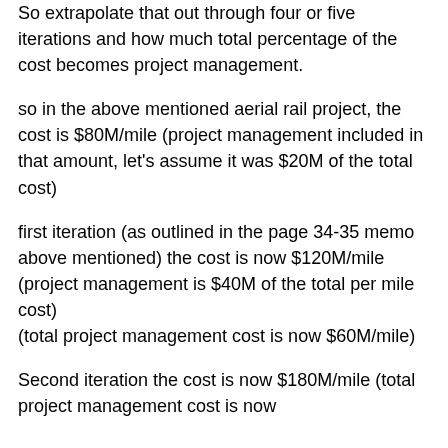So extrapolate that out through four or five iterations and how much total percentage of the cost becomes project management.
so in the above mentioned aerial rail project, the cost is $80M/mile (project management included in that amount, let’s assume it was $20M of the total cost)
first iteration (as outlined in the page 34-35 memo above mentioned) the cost is now $120M/mile (project management is $40M of the total per mile cost)
(total project management cost is now $60M/mile)
Second iteration the cost is now $180M/mile (total project management cost is now